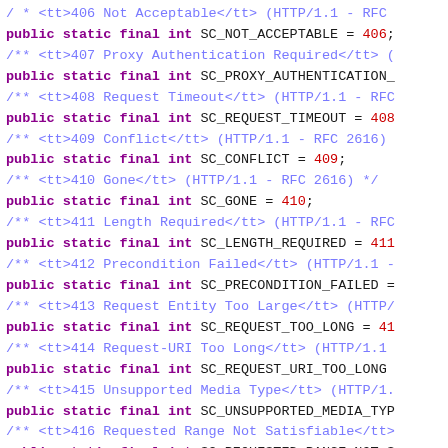Source code listing showing Java HTTP status code constants (SC_NOT_ACCEPTABLE through SC_EXPECTATION_FAILED) with Javadoc comments.